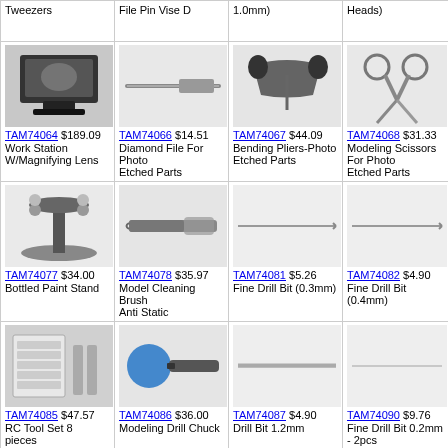| TAM74064 $189.09 Work Station W/Magnifying Lens | TAM74066 $14.51 Diamond File For Photo Etched Parts | TAM74067 $44.09 Bending Pliers-Photo Etched Parts | TAM74068 $31.33 Modeling Scissors For Photo Etched Parts | TAM74069 (partial) |
| TAM74077 $34.00 Bottled Paint Stand | TAM74078 $35.97 Model Cleaning Brush Anti Static | TAM74081 $5.26 Fine Drill Bit (0.3mm) | TAM74082 $4.90 Fine Drill Bit (0.4mm) | TAM74083 Fine Dri... (partial) |
| TAM74085 $47.57 RC Tool Set 8 pieces | TAM74086 $36.00 Modeling Drill Chuck | TAM74087 $4.90 Drill Bit 1.2mm | TAM74090 $9.76 Fine Drill Bit 0.2mm - 2pcs | TAM74091 Plastic S... (partial) |
| TAM74094 $15.67 Photo-Etched Craft Saw | TAM74095 $5.26 Drill Bit - 1.0mm | TAM74096 $5.26 Fine Drill Bit - 0.8mm | TAM74098 $29.18 Modeler s Knife Pro | TAM74099 Modeler Straight (partial) |
| (partial bottom row) | (partial bottom row) | (partial bottom row) | (partial bottom row) |  |